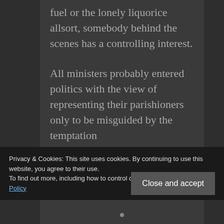fuel or the lonely liquorice allsort, somebody behind the scenes has a controlling interest.
All ministers probably entered politics with the view of representing their parishioners only to be misguided by the temptation of self...
Privacy & Cookies: This site uses cookies. By continuing to use this website, you agree to their use.
To find out more, including how to control cookies, see here: Cookie Policy
Close and accept